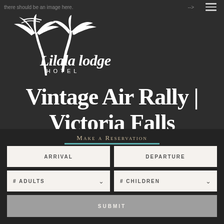there should be an image here.
[Figure (logo): Lilala Lodge Hotel logo — white palm tree silhouette with cursive 'Lilala lodge' text and 'HOTEL' in spaced caps beneath]
Vintage Air Rally | Victoria Falls
Make a Reservation
ARRIVAL | DEPARTURE | # ADULTS | # CHILDREN | SUBMIT